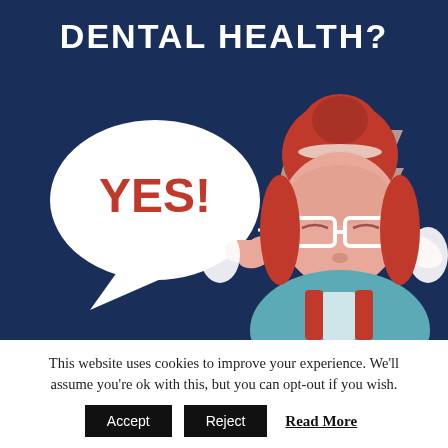DENTAL HEALTH?
[Figure (illustration): Illustration of a woman with red hair in a bun, wearing white glasses, pressing her hands to her temples in pain. Lightning bolt symbols appear on either side of her head indicating headache/toothache. A large white speech bubble on the left contains the text 'YES!' in red. Background is dark navy blue.]
This website uses cookies to improve your experience. We'll assume you're ok with this, but you can opt-out if you wish.
Accept  Reject  Read More